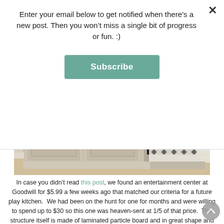Enter your email below to get notified when there’s a new post. Then you won’t miss a single bit of progress or fun. :)
Subscribe
[Figure (photo): Photo of a painted entertainment center / cabinet with paneled doors, a black oven insert in center, and a black-and-white patterned cloth draped on the right side, sitting on a light-colored rug]
In case you didn’t read this post, we found an entertainment center at Goodwill for $5.99 a few weeks ago that matched our criteria for a future play kitchen. We had been on the hunt for one for months and were willing to spend up to $30 so this one was heaven-sent at 1/5 of that price. The structure itself is made of laminated particle board and in great shape and the doors are solid wood and beautiful!